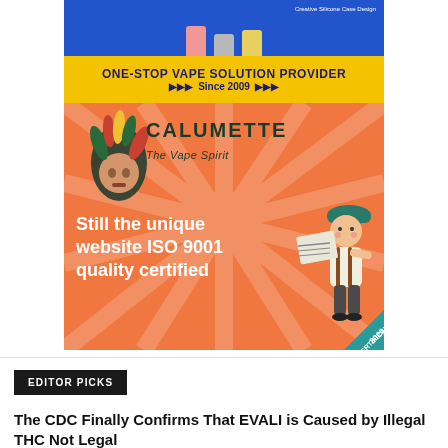[Figure (illustration): Advertisement banner: ONE-STOP VAPE SOLUTION PROVIDER - Since 2009. Blue top half with vape product boxes, yellow bottom half with bold dark blue text.]
[Figure (illustration): Calumette advertisement on orange/salmon background with radiating rays. Native American chief logo on left, CALUMETTE The Vape Spirit brand name, text reading 'Still the unique website ISO 9001 quality certified', newsboy character holding newspaper on right, ISO 9001 certification 2020 badge in corner.]
EDITOR PICKS
The CDC Finally Confirms That EVALI is Caused by Illegal THC Not Legal